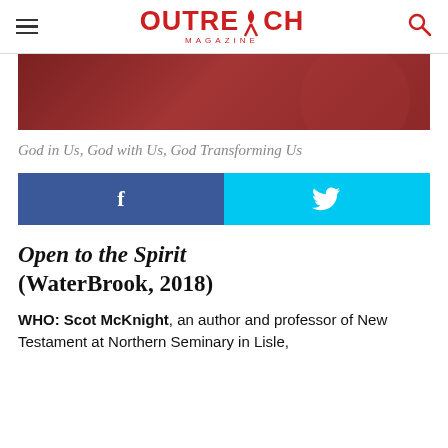Outreach Magazine
[Figure (photo): Dark red/maroon hero image background with subtle circular shape]
God in Us, God with Us, God Transforming Us
[Figure (infographic): Facebook and Twitter share buttons side by side]
Open to the Spirit (WaterBrook, 2018)
WHO: Scot McKnight, an author and professor of New Testament at Northern Seminary in Lisle,